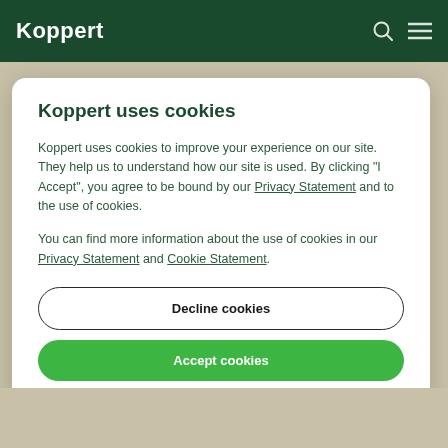Koppert
Koppert uses cookies
Koppert uses cookies to improve your experience on our site. They help us to understand how our site is used. By clicking “I Accept”, you agree to be bound by our Privacy Statement and to the use of cookies.
You can find more information about the use of cookies in our Privacy Statement and Cookie Statement.
Decline cookies
Accept cookies